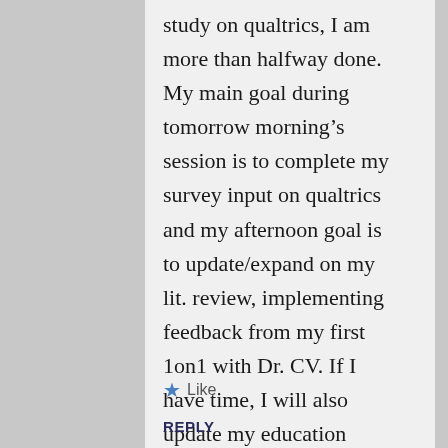study on qualtrics, I am more than halfway done. My main goal during tomorrow morning's session is to complete my survey input on qualtrics and my afternoon goal is to update/expand on my lit. review, implementing feedback from my first 1on1 with Dr. CV. If I have time, I will also update my education statistics in the introduction.
★ Like
REPLY